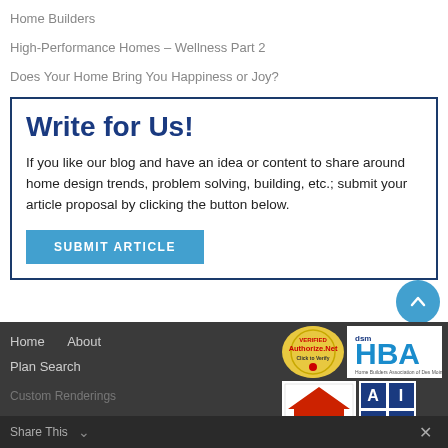Home Builders
High-Performance Homes – Wellness Part 2
Does Your Home Bring You Happiness or Joy?
Write for Us!
If you like our blog and have an idea or content to share around home design trends, problem solving, building, etc.; submit your article proposal by clicking the button below.
SUBMIT ARTICLE
Home   About   Plan Search   Custom Renderings   Share This